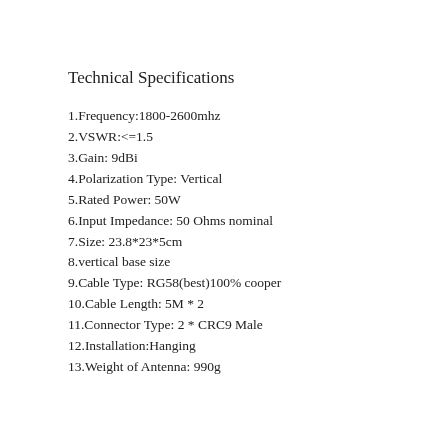Technical Specifications
1.Frequency:1800-2600mhz
2.VSWR:<=1.5
3.Gain: 9dBi
4.Polarization Type: Vertical
5.Rated Power: 50W
6.Input Impedance: 50 Ohms nominal
7.Size: 23.8*23*5cm
8.vertical base size
9.Cable Type: RG58(best)100% cooper
10.Cable Length: 5M * 2
11.Connector Type: 2 * CRC9 Male
12.Installation:Hanging
13.Weight of Antenna: 990g